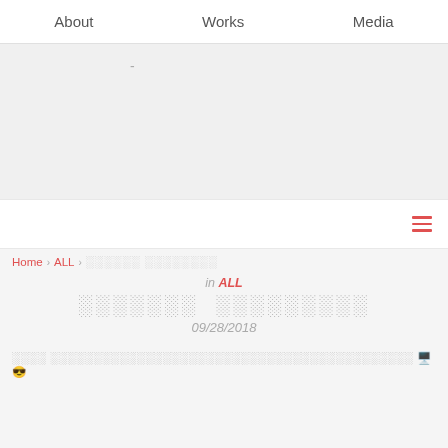About   Works   Media
[Figure (screenshot): Grey placeholder area with a small dash character]
[Figure (screenshot): White navigation bar with hamburger menu icon (three red lines) on the right]
Home > ALL > ░░░░░░ ░░░░░░░░
in ALL
░░░░░░░ ░░░░░░░░░
09/28/2018
░░░░ ░░░░░░░░░░░░░░░░░░░░░░░░░░░░░░░░░░░░░░░░░░░░ 🖥️ 😎